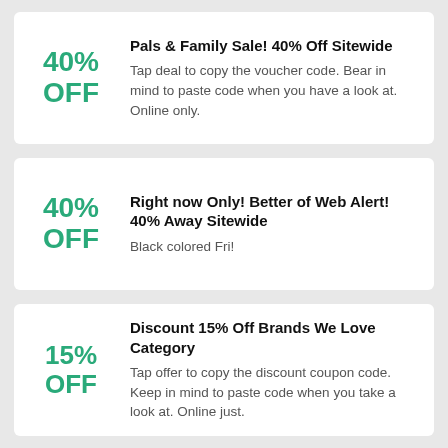40% OFF
Pals & Family Sale! 40% Off Sitewide
Tap deal to copy the voucher code. Bear in mind to paste code when you have a look at. Online only.
40% OFF
Right now Only! Better of Web Alert! 40% Away Sitewide
Black colored Fri!
15% OFF
Discount 15% Off Brands We Love Category
Tap offer to copy the discount coupon code. Keep in mind to paste code when you take a look at. Online just.